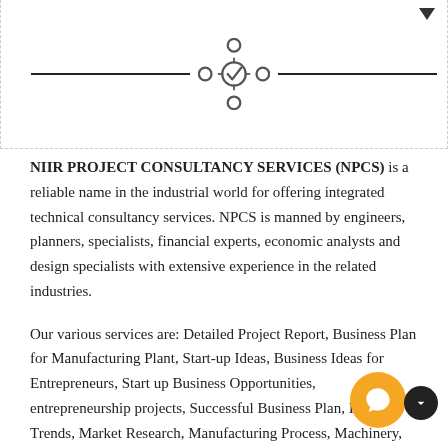[Figure (illustration): A gear/network icon with a checkmark in the center circle, flanked by two horizontal black lines, with a dropdown arrow in the top-right corner. Enclosed in a dashed border box.]
NIIR PROJECT CONSULTANCY SERVICES (NPCS) is a reliable name in the industrial world for offering integrated technical consultancy services. NPCS is manned by engineers, planners, specialists, financial experts, economic analysts and design specialists with extensive experience in the related industries.
Our various services are: Detailed Project Report, Business Plan for Manufacturing Plant, Start-up Ideas, Business Ideas for Entrepreneurs, Start up Business Opportunities, entrepreneurship projects, Successful Business Plan, Industry Trends, Market Research, Manufacturing Process, Machinery, Raw Materials, project report, Cost and Revenue, Pre-feasibility study for Profitable Manufacturing Business, Project Identification, Project Feasibility and Market Study, Identification of Profitable Industrial Project Opportunities, Business Opportunities, Investment Opportunities, Profitable Business in India, Manufacturing Business Ideas, Preparation of Project Profile, Pre-Investment and Pre-Feasibility Study, Market Research